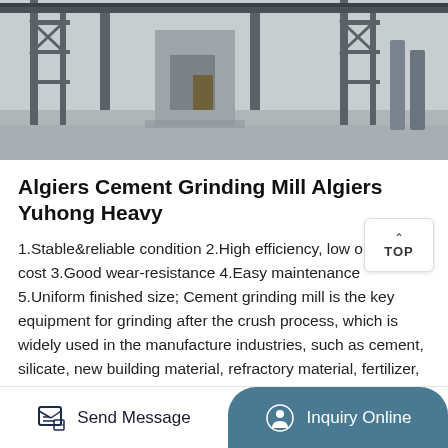[Figure (photo): Industrial cement grinding mill facility exterior showing steel structures, conveyor frames, and a concrete building under industrial sky]
Algiers Cement Grinding Mill Algiers Yuhong Heavy
1.Stable&reliable condition 2.High efficiency, low operation cost 3.Good wear-resistance 4.Easy maintenance 5.Uniform finished size; Cement grinding mill is the key equipment for grinding after the crush process, which is widely used in the manufacture industries, such as cement, silicate, new building material, refractory material, fertilizer, ferrous metal, nonferrousmetal and glass ceramics ...
Send Message | Inquiry Online